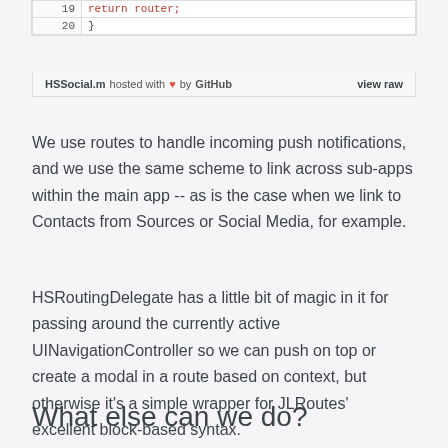| line | code |
| --- | --- |
| 19 | return router; |
| 20 | } |
HSSocial.m hosted with ♥ by GitHub    view raw
We use routes to handle incoming push notifications, and we use the same scheme to link across sub-apps within the main app -- as is the case when we link to Contacts from Sources or Social Media, for example.
HSRoutingDelegate has a little bit of magic in it for passing around the currently active UINavigationController so we can push on top or create a modal in a route based on context, but otherwise it's a simple wrapper for JLRoutes' excellent block-based syntax.
What else can we do?